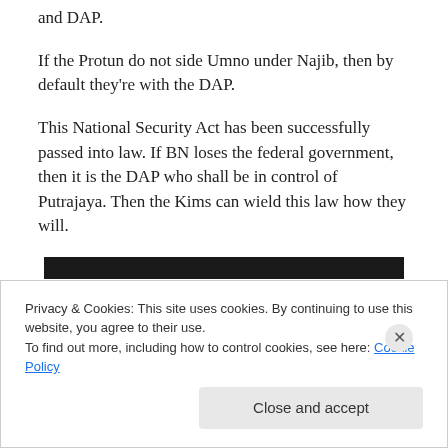and DAP.
If the Protun do not side Umno under Najib, then by default they’re with the DAP.
This National Security Act has been successfully passed into law. If BN loses the federal government, then it is the DAP who shall be in control of Putrajaya. Then the Kims can wield this law how they will.
[Figure (other): Dark advertisement banner bar]
REPORT THIS AD
Privacy & Cookies: This site uses cookies. By continuing to use this website, you agree to their use.
To find out more, including how to control cookies, see here: Cookie Policy